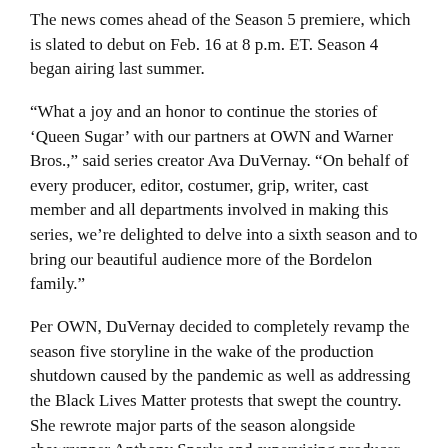The news comes ahead of the Season 5 premiere, which is slated to debut on Feb. 16 at 8 p.m. ET. Season 4 began airing last summer.
“What a joy and an honor to continue the stories of ‘Queen Sugar’ with our partners at OWN and Warner Bros.,” said series creator Ava DuVernay. “On behalf of every producer, editor, costumer, grip, writer, cast member and all departments involved in making this series, we’re delighted to delve into a sixth season and to bring our beautiful audience more of the Bordelon family.”
Per OWN, DuVernay decided to completely revamp the season five storyline in the wake of the production shutdown caused by the pandemic as well as addressing the Black Lives Matter protests that swept the country. She rewrote major parts of the season alongside showrunner Anthony Sparks and supervising producer Norman Vance.